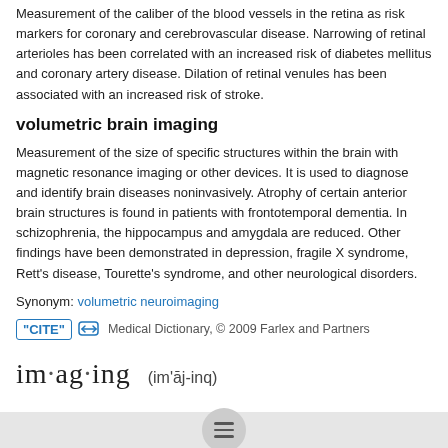Measurement of the caliber of the blood vessels in the retina as risk markers for coronary and cerebrovascular disease. Narrowing of retinal arterioles has been correlated with an increased risk of diabetes mellitus and coronary artery disease. Dilation of retinal venules has been associated with an increased risk of stroke.
volumetric brain imaging
Measurement of the size of specific structures within the brain with magnetic resonance imaging or other devices. It is used to diagnose and identify brain diseases noninvasively. Atrophy of certain anterior brain structures is found in patients with frontotemporal dementia. In schizophrenia, the hippocampus and amygdala are reduced. Other findings have been demonstrated in depression, fragile X syndrome, Rett's disease, Tourette's syndrome, and other neurological disorders.
Synonym: volumetric neuroimaging
"CITE" [link icon]   Medical Dictionary, © 2009 Farlex and Partners
im·ag·ing   (im'āj-inq)